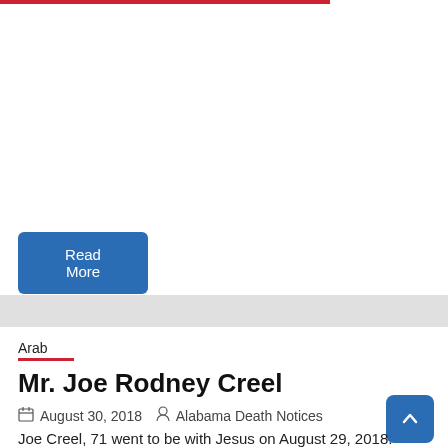[Figure (other): Red horizontal bar at top of page]
Read More
Arab
Mr. Joe Rodney Creel
August 30, 2018   Alabama Death Notices
Joe Creel, 71 went to be with Jesus on August 29, 2018.